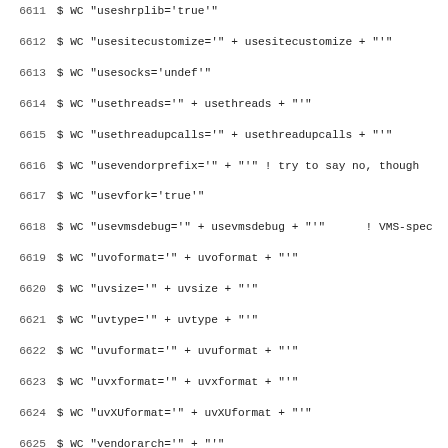Code listing lines 6611-6642: DCL script writing configuration variables via WC command